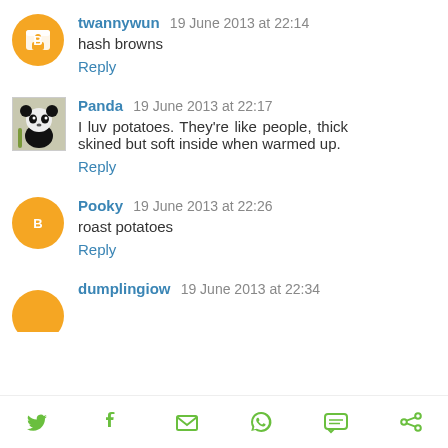twannywun 19 June 2013 at 22:14 — hash browns — Reply
Panda 19 June 2013 at 22:17 — I luv potatoes. They're like people, thick skined but soft inside when warmed up. — Reply
Pooky 19 June 2013 at 22:26 — roast potatoes — Reply
dumplingiow 19 June 2013 at 22:34
[Figure (other): Social sharing icons bar at bottom: Twitter bird, Facebook f, email envelope, WhatsApp, SMS speech bubble, other share icon]